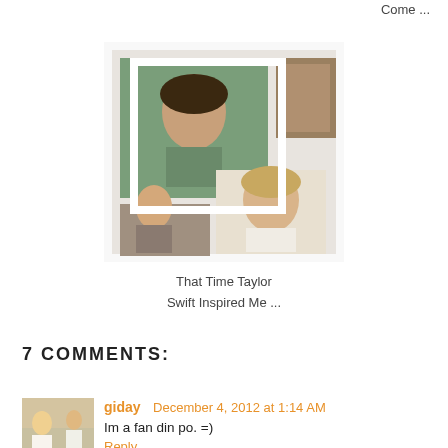Come ...
[Figure (photo): Collage of two photos in a decorative frame: a woman with long dark hair outdoors, and Taylor Swift in a white dress]
That Time Taylor Swift Inspired Me ...
7 COMMENTS:
giday  December 4, 2012 at 1:14 AM
Im a fan din po. =)
Reply
erika  December 4, 2012 at 10:27 AM
Me too! And I'm get kilig kapag nagrereply ka sa tweet ko!
Reply